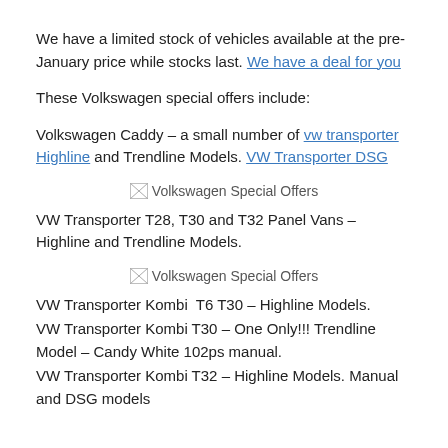We have a limited stock of vehicles available at the pre- January price while stocks last. We have a deal for you
These Volkswagen special offers include:
Volkswagen Caddy – a small number of vw transporter Highline and Trendline Models. VW Transporter DSG
[Figure (other): Volkswagen Special Offers placeholder image]
VW Transporter T28, T30 and T32 Panel Vans – Highline and Trendline Models.
[Figure (other): Volkswagen Special Offers placeholder image]
VW Transporter Kombi  T6 T30 – Highline Models.
VW Transporter Kombi T30 – One Only!!! Trendline Model – Candy White 102ps manual.
VW Transporter Kombi T32 – Highline Models. Manual and DSG models